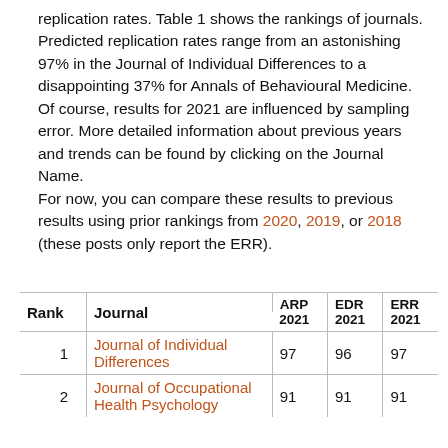replication rates. Table 1 shows the rankings of journals. Predicted replication rates range from an astonishing 97% in the Journal of Individual Differences to a disappointing 37% for Annals of Behavioural Medicine. Of course, results for 2021 are influenced by sampling error. More detailed information about previous years and trends can be found by clicking on the Journal Name.
For now, you can compare these results to previous results using prior rankings from 2020, 2019, or 2018 (these posts only report the ERR).
| Rank | Journal | ARP 2021 | EDR 2021 | ERR 2021 |
| --- | --- | --- | --- | --- |
| 1 | Journal of Individual Differences | 97 | 96 | 97 |
| 2 | Journal of Occupational Health Psychology | 91 | 91 | 91 |